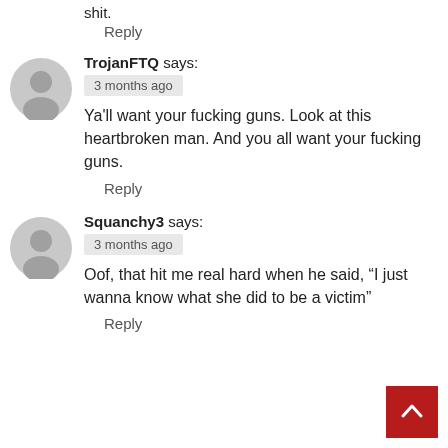shit.
Reply
TrojanFTQ says:
3 months ago
Ya'll want your fucking guns. Look at this heartbroken man. And you all want your fucking guns.
Reply
Squanchy3 says:
3 months ago
Oof, that hit me real hard when he said, “I just wanna know what she did to be a victim”
Reply